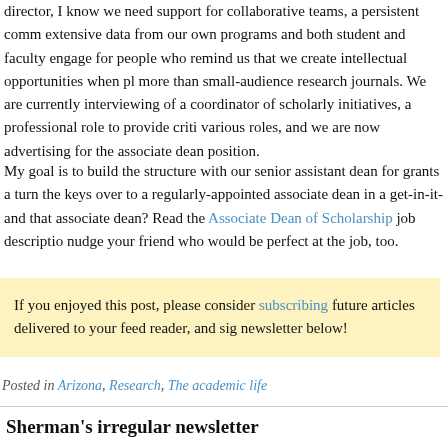director, I know we need support for collaborative teams, a persistent comm extensive data from our own programs and both student and faculty engage for people who remind us that we create intellectual opportunities when pl more than small-audience research journals. We are currently interviewing of a coordinator of scholarly initiatives, a professional role to provide criti various roles, and we are now advertising for the associate dean position.
My goal is to build the structure with our senior assistant dean for grants a turn the keys over to a regularly-appointed associate dean in a get-in-it-an that associate dean? Read the Associate Dean of Scholarship job descriptio nudge your friend who would be perfect at the job, too.
If you enjoyed this post, please consider subscribing future articles delivered to your feed reader, and sig newsletter below!
Posted in Arizona, Research, The academic life
Sherman's irregular newsletter